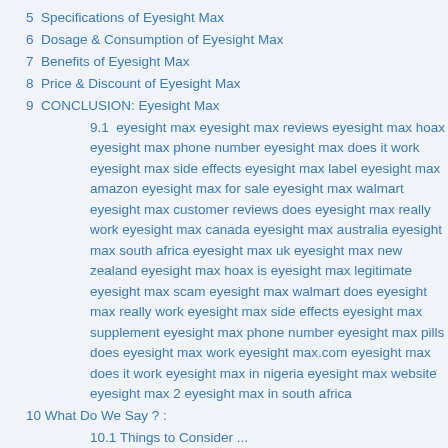5  Specifications of Eyesight Max
6  Dosage & Consumption of Eyesight Max
7  Benefits of Eyesight Max
8  Price & Discount of Eyesight Max
9  CONCLUSION: Eyesight Max
9.1  eyesight max eyesight max reviews eyesight max hoax eyesight max phone number eyesight max does it work eyesight max side effects eyesight max label eyesight max amazon eyesight max for sale eyesight max walmart eyesight max customer reviews does eyesight max really work eyesight max canada eyesight max australia eyesight max south africa eyesight max uk eyesight max new zealand eyesight max hoax is eyesight max legitimate eyesight max scam eyesight max walmart does eyesight max really work eyesight max side effects eyesight max supplement eyesight max phone number eyesight max pills does eyesight max work eyesight max.com eyesight max does it work eyesight max in nigeria eyesight max website eyesight max 2 eyesight max in south africa
10  What Do We Say ? :
10.1  Things to Consider ...